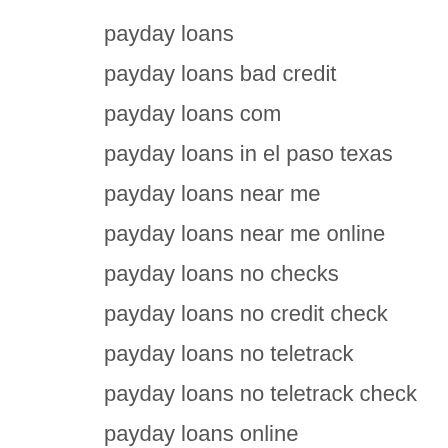payday loans
payday loans bad credit
payday loans com
payday loans in el paso texas
payday loans near me
payday loans near me online
payday loans no checks
payday loans no credit check
payday loans no teletrack
payday loans no teletrack check
payday loans online
payday loans online in arizona
payday loans pa
payday loans requirements
payday loans superior wi